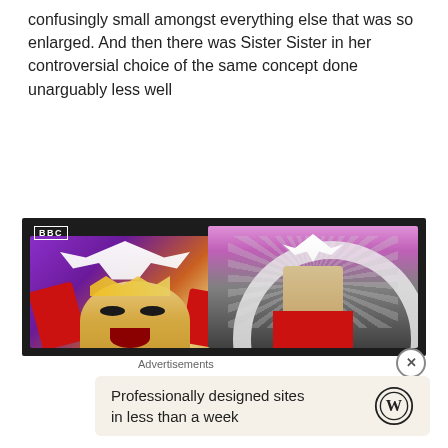confusingly small amongst everything else that was so enlarged. And then there was Sister Sister in her controversial choice of the same concept done unarguably less well
[Figure (screenshot): BBC TV screenshot showing two side-by-side images of a drag queen performer wearing an elaborate costume with white bird/dove headpiece and red and gold outfit, performing on a stage with purple and circular light backgrounds]
Advertisements
[Figure (infographic): Advertisement for WordPress: 'Professionally designed sites in less than a week' with WordPress logo]